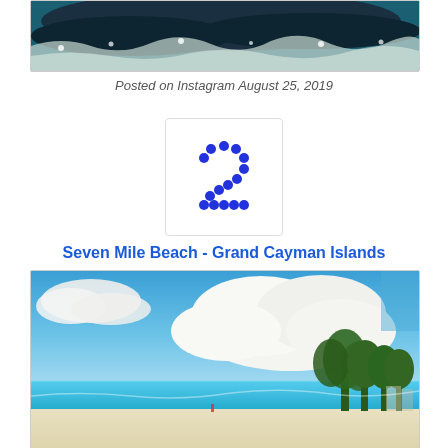[Figure (photo): Top portion of an ocean/wave photo, cropped at the top of the page]
Posted on Instagram August 25, 2019
[Figure (illustration): Number 2 icon with blue dotted/circular pattern on white background with border]
Seven Mile Beach - Grand Cayman Islands
[Figure (photo): Seven Mile Beach in Grand Cayman Islands - blue sky with large white clouds, turquoise water, white sandy beach with palm trees on the right]